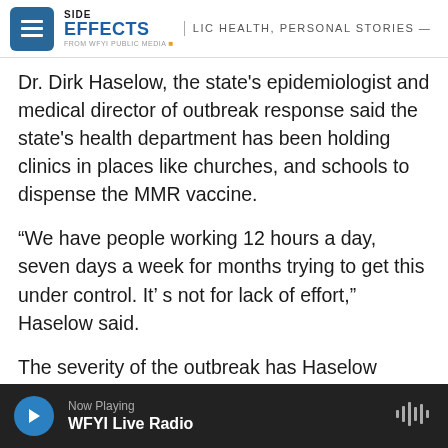SIDE EFFECTS | PUBLIC HEALTH, PERSONAL STORIES | From WFYI Public Media
Dr. Dirk Haselow, the state's epidemiologist and medical director of outbreak response said the state's health department has been holding clinics in places like churches, and schools to dispense the MMR vaccine.
“We have people working 12 hours a day, seven days a week for months trying to get this under control. It’ s not for lack of effort,” Haselow said.
The severity of the outbreak has Haselow questioning the vaccine dosing protocol.
More than 90 percent of affected children and 30 to
Now Playing | WFYI Live Radio